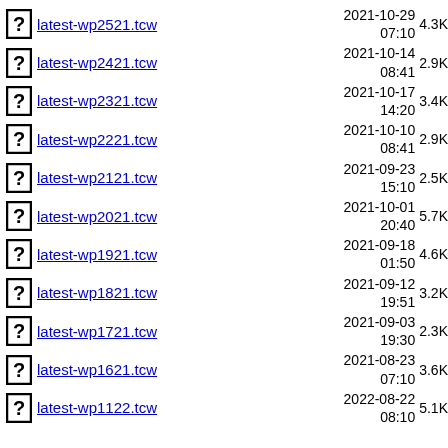latest-wp2521.tcw  2021-10-29 07:10  4.3K
latest-wp2421.tcw  2021-10-14 08:41  2.9K
latest-wp2321.tcw  2021-10-17 14:20  3.4K
latest-wp2221.tcw  2021-10-10 08:41  2.9K
latest-wp2121.tcw  2021-09-23 15:10  2.5K
latest-wp2021.tcw  2021-10-01 20:40  5.7K
latest-wp1921.tcw  2021-09-18 01:50  4.6K
latest-wp1821.tcw  2021-09-12 19:51  3.2K
latest-wp1721.tcw  2021-09-03 19:30  2.3K
latest-wp1621.tcw  2021-08-23 07:10  3.6K
latest-wp1122.tcw  2022-08-22 08:10  5.1K